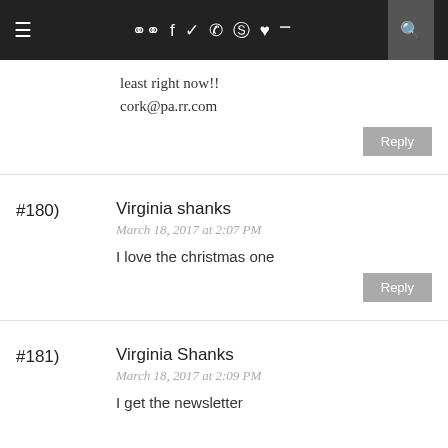≡ [icons] Q
least right now!!
cork@pa.rr.com
#180)   Virginia shanks
March 18, 2017 at 2:07 PM
I love the christmas one
#181)   Virginia Shanks
March 18, 2017 at 2:09 PM
I get the newsletter